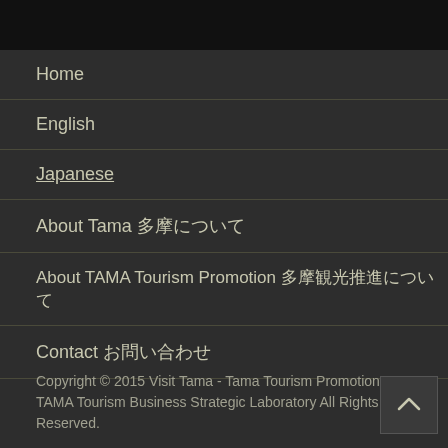Home
English
Japanese
About Tama 多摩について
About TAMA Tourism Promotion 多摩観光推進について
Contact お問い合わせ
Copyright © 2015 Visit Tama - Tama Tourism Promotion - TAMA Tourism Business Strategic Laboratory All Rights Reserved.